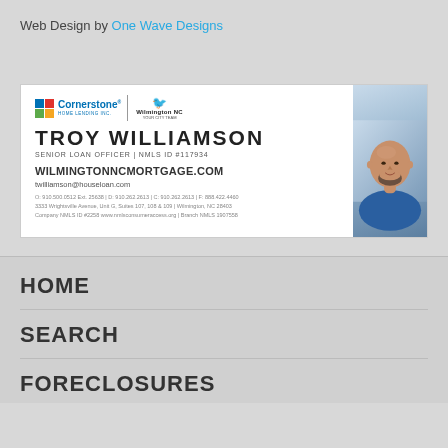Web Design by One Wave Designs
[Figure (infographic): Business card banner for Troy Williamson, Senior Loan Officer at Cornerstone Home Lending Inc., with photo of a smiling bald man with beard wearing a blue shirt. Shows website wilmingtonncmortgage.com, email twilliamson@houseloan.com, phone and address details, NMLS info.]
HOME
SEARCH
FORECLOSURES